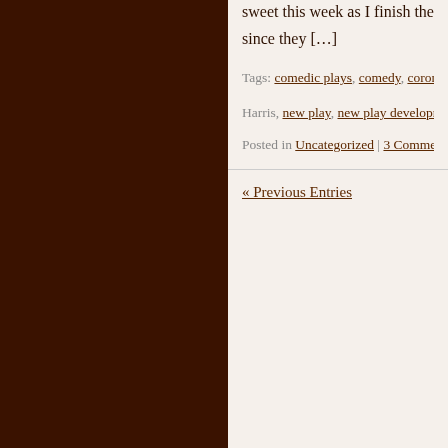sweet this week as I finish the utility scene I started last w… since they […]
Tags: comedic plays, comedy, coronavirus, COVID-19, d… Harris, new play, new play development, playwrights, pla…
Posted in Uncategorized | 3 Comments »
« Previous Entries